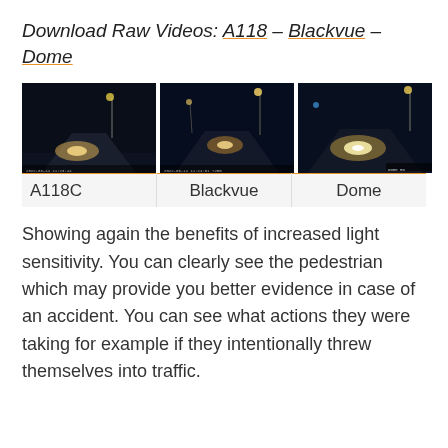Download Raw Videos: A118 – Blackvue – Dome
[Figure (photo): Three side-by-side night dashcam video thumbnails labeled A118C, Blackvue, and Dome, each showing a dark road scene with lights.]
| A118C | Blackvue | Dome |
| --- | --- | --- |
Showing again the benefits of increased light sensitivity. You can clearly see the pedestrian which may provide you better evidence in case of an accident. You can see what actions they were taking for example if they intentionally threw themselves into traffic.